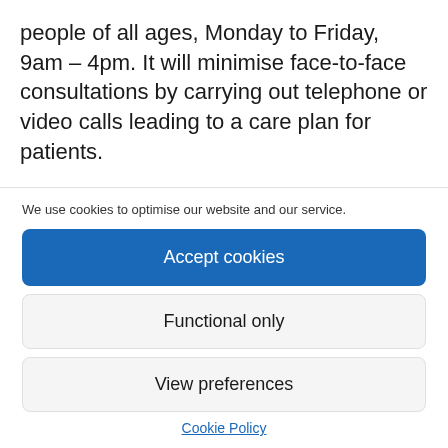people of all ages, Monday to Friday, 9am – 4pm. It will minimise face-to-face consultations by carrying out telephone or video calls leading to a care plan for patients.
Members of the public can access the service directly by contacting 07970354059 or referrals can be made
We use cookies to optimise our website and our service.
Accept cookies
Functional only
View preferences
Cookie Policy